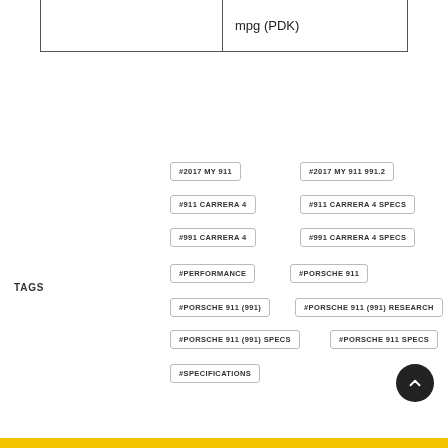|  | mpg (PDK) |
| --- | --- |
|  |  |
TAGS
#2017 MY 911
#2017 MY 911 991.2
#911 CARRERA 4
#911 CARRERA 4 SPECS
#991 CARRERA 4
#991 CARRERA 4 SPECS
#PERFORMANCE
#PORSCHE 911
#PORSCHE 911 (991)
#PORSCHE 911 (991) RESEARCH
#PORSCHE 911 (991) SPECS
#PORSCHE 911 SPECS
#SPECIFICATIONS